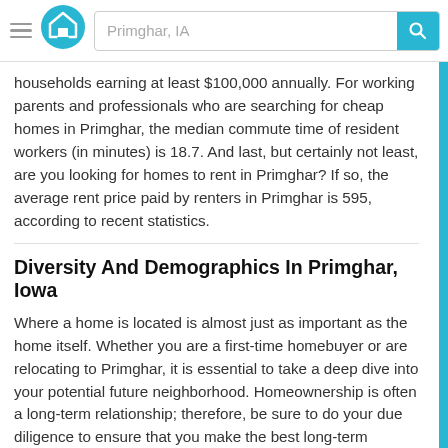Primghar, IA
households earning at least $100,000 annually. For working parents and professionals who are searching for cheap homes in Primghar, the median commute time of resident workers (in minutes) is 18.7. And last, but certainly not least, are you looking for homes to rent in Primghar? If so, the average rent price paid by renters in Primghar is 595, according to recent statistics.
Diversity And Demographics In Primghar, Iowa
Where a home is located is almost just as important as the home itself. Whether you are a first-time homebuyer or are relocating to Primghar, it is essential to take a deep dive into your potential future neighborhood. Homeownership is often a long-term relationship; therefore, be sure to do your due diligence to ensure that you make the best long-term decision.
The median age of residents in Primghar is 42.6, split between 47.1 percent male versus 52.9 female. The percentage of residents who report being married in Primghar is 50.3, with an average family size of 2.87.